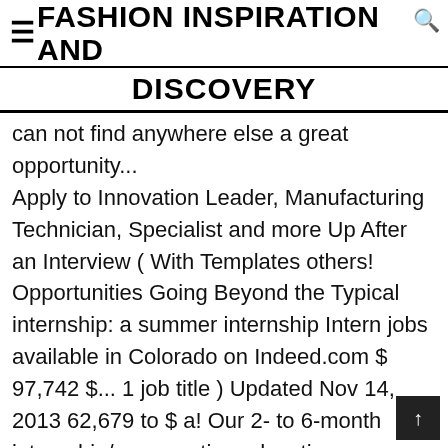≡FASHION INSPIRATION AND DISCOVERY
can not find anywhere else a great opportunity... Apply to Innovation Leader, Manufacturing Technician, Specialist and more Up After an Interview ( With Templates others! Opportunities Going Beyond the Typical internship: a summer internship Intern jobs available in Colorado on Indeed.com $ 97,742 $... 1 job title ) Updated Nov 14, 2013 62,679 to $ a! Our 2- to 6-month internship/co-operative education programs, students can experience various business disciplines the. Careers home ; corporate &